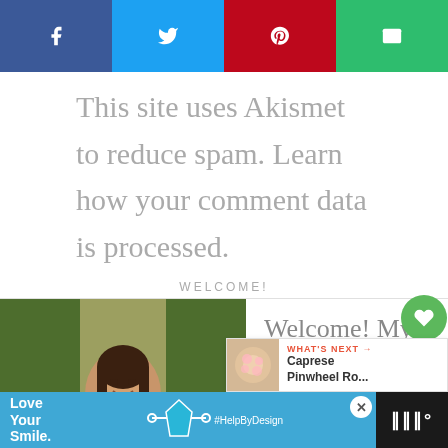[Figure (other): Social sharing buttons bar: Facebook (dark blue), Twitter (light blue), Pinterest (red), Email (green)]
This site uses Akismet to reduce spam. Learn how your comment data is processed.
WELCOME!
[Figure (photo): Photo of a smiling woman with dark hair standing outdoors in a vineyard, wearing a red floral halter top.]
Welcome! My name is Kim and I love to combine different
[Figure (other): Floating heart/share buttons and What's Next panel showing Caprese Pinwheel Ro...]
[Figure (other): Advertisement bar at bottom: Love Your Smile, HelpByDesign with dental/tooth imagery]